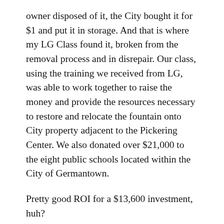owner disposed of it, the City bought it for $1 and put it in storage. And that is where my LG Class found it, broken from the removal process and in disrepair. Our class, using the training we received from LG, was able to work together to raise the money and provide the resources necessary to restore and relocate the fountain onto City property adjacent to the Pickering Center. We also donated over $21,000 to the eight public schools located within the City of Germantown.
Pretty good ROI for a $13,600 investment, huh?
Oh, but there is more....